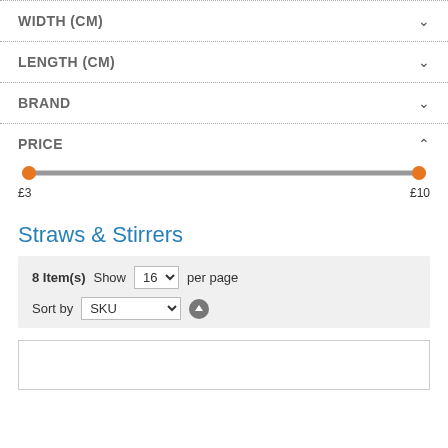WIDTH (CM)
LENGTH (CM)
BRAND
PRICE
[Figure (other): Price range slider from £3 to £10 with two orange circular handles at each end of a gray track]
Straws & Stirrers
8 Item(s) Show 16 per page
Sort by SKU